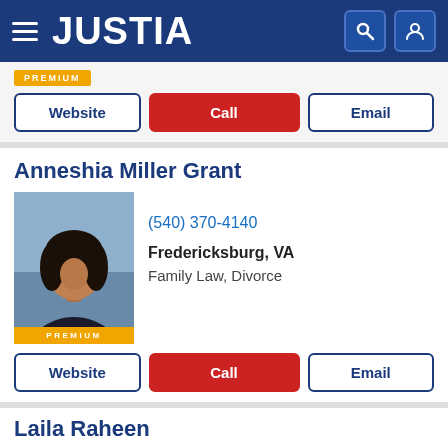JUSTIA
PREMIUM
Website | Call | Email
Anneshia Miller Grant
[Figure (photo): Professional headshot of Anneshia Miller Grant, a woman in a dark blazer with PREMIUM badge]
(540) 370-4140
Fredericksburg, VA
Family Law, Divorce
Website | Call | Email
Laila Raheen
[Figure (photo): Professional headshot of Laila Raheen, a woman in a dark blazer]
(703) 223-5295
Fairfax, VA
Divorce, Family Law